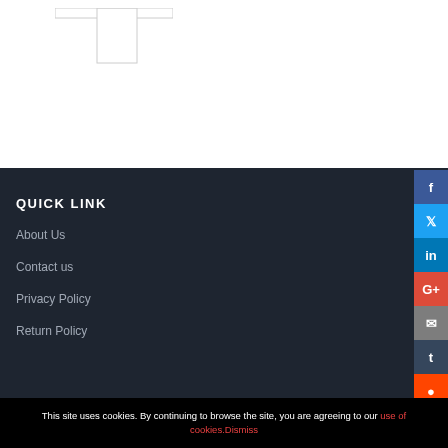[Figure (schematic): Partial schematic/diagram with rectangular outlines visible at top of page]
QUICK LINK
About Us
Contact us
Privacy Policy
Return Policy
This site uses cookies. By continuing to browse the site, you are agreeing to our use of cookies.Dismiss